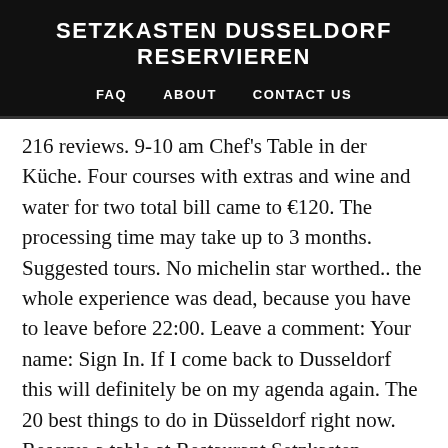SETZKASTEN DUSSELDORF RESERVIEREN
FAQ   ABOUT   CONTACT US
216 reviews. 9-10 am Chef's Table in der Küche. Four courses with extras and wine and water for two total bill came to €120. The processing time may take up to 3 months. Suggested tours. No michelin star worthed.. the whole experience was dead, because you have to leave before 22:00. Leave a comment: Your name: Sign In. If I come back to Dusseldorf this will definitely be on my agenda again. The 20 best things to do in Düsseldorf right now. Reserve a table at Restaurant Setzkasten, Dusseldorf on Tripadvisor: See 255 unbiased